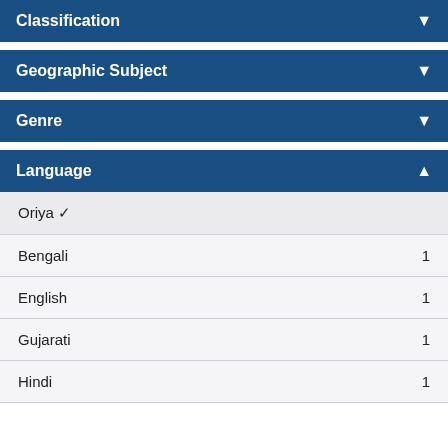Classification
Geographic Subject
Genre
Language
Oriya ✓
Bengali 1
English 1
Gujarati 1
Hindi 1